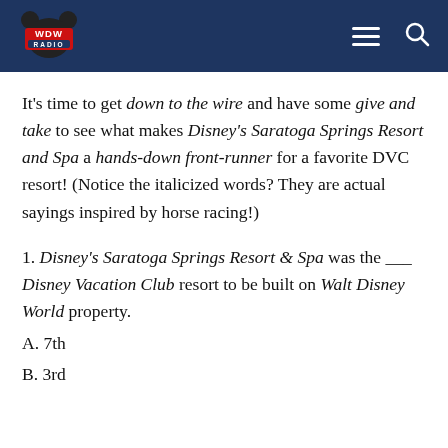WDW Radio
It’s time to get down to the wire and have some give and take to see what makes Disney’s Saratoga Springs Resort and Spa a hands-down front-runner for a favorite DVC resort! (Notice the italicized words? They are actual sayings inspired by horse racing!)
1. Disney’s Saratoga Springs Resort & Spa was the ___ Disney Vacation Club resort to be built on Walt Disney World property.
A. 7th
B. 3rd